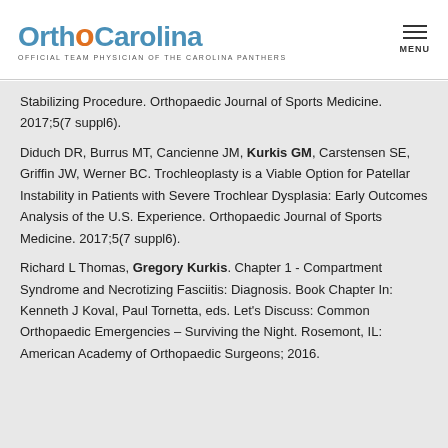OrthoCarolina - Official Team Physician of the Carolina Panthers
Stabilizing Procedure. Orthopaedic Journal of Sports Medicine. 2017;5(7 suppl6).
Diduch DR, Burrus MT, Cancienne JM, Kurkis GM, Carstensen SE, Griffin JW, Werner BC. Trochleoplasty is a Viable Option for Patellar Instability in Patients with Severe Trochlear Dysplasia: Early Outcomes Analysis of the U.S. Experience. Orthopaedic Journal of Sports Medicine. 2017;5(7 suppl6).
Richard L Thomas, Gregory Kurkis. Chapter 1 - Compartment Syndrome and Necrotizing Fasciitis: Diagnosis. Book Chapter In: Kenneth J Koval, Paul Tornetta, eds. Let's Discuss: Common Orthopaedic Emergencies – Surviving the Night. Rosemont, IL: American Academy of Orthopaedic Surgeons; 2016.